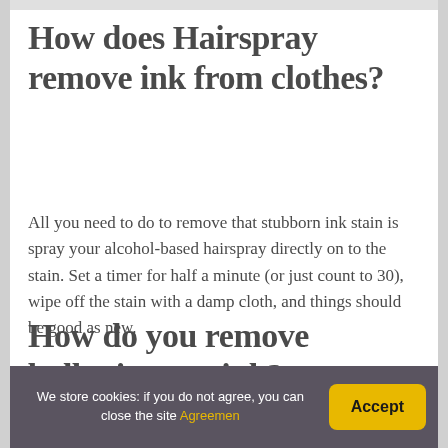How does Hairspray remove ink from clothes?
All you need to do to remove that stubborn ink stain is spray your alcohol-based hairspray directly on to the stain. Set a timer for half a minute (or just count to 30), wipe off the stain with a damp cloth, and things should be good as new.
How do you remove ballpoint pen ink?
We store cookies: if you do not agree, you can close the site Agreemen  Accept